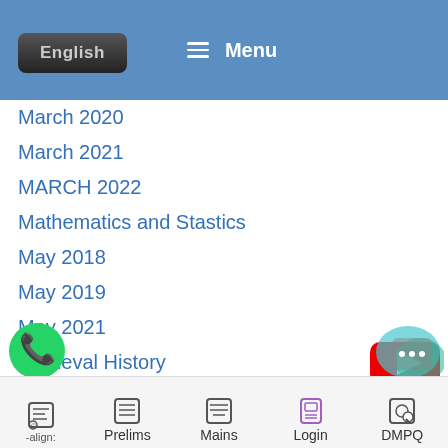English   Menu
March 2020
March 2021
MARCH 2022
Mathematics and Stastics
May 2018
May 2019
May 2021
Medieval History
Medival History Quiz
Mega Test Prelims 2022
Modern History
-align:   Prelims   Mains   Login   DMPQ